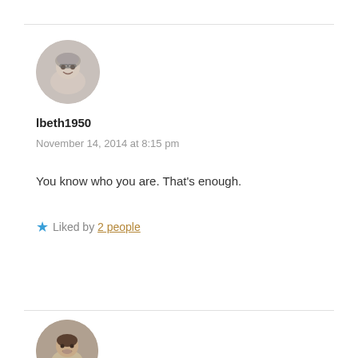[Figure (photo): Circular avatar photo of an older woman with gray hair and glasses, smiling]
lbeth1950
November 14, 2014 at 8:15 pm
You know who you are. That's enough.
★ Liked by 2 people
Reply
[Figure (photo): Circular avatar photo of a man with dark hair and beard, smiling, partial view]